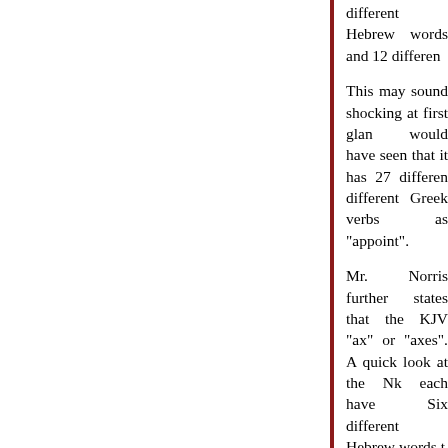different Hebrew words and 12 different
This may sound shocking at first glance, would have seen that it has 27 different different Greek verbs as "appoint".
Mr. Norris further states that the KJV "ax" or "axes". A quick look at the NK each have Six different Hebrew words t
Mr. Norris saves the big one for last. He observed that the verb "destroy" is use continues: "When one English word is the subtle distinctions and nuances bet by the English reader."
This part is always so boring, but I actu Hebrew words translated as "destroy" translated as "destroy".
I really wish these two brothers would print such alarming statistics. Do they d Mr. Norris' book that I do appreciate is should take a look at their own book.